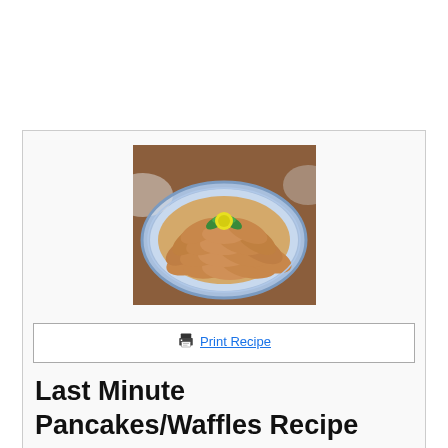[Figure (photo): A decorative plate of pancakes arranged in a circular fan pattern with a yellow flower and green leaves garnish in the center, on a blue and white plate on a wooden table.]
Print Recipe
Last Minute Pancakes/Waffles Recipe
Author: Kelly the Kitchen Kop